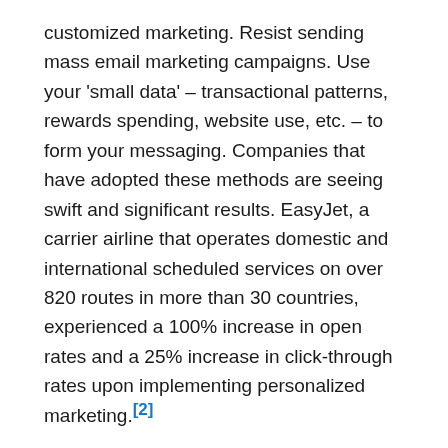customized marketing. Resist sending mass email marketing campaigns. Use your 'small data' – transactional patterns, rewards spending, website use, etc. – to form your messaging. Companies that have adopted these methods are seeing swift and significant results. EasyJet, a carrier airline that operates domestic and international scheduled services on over 820 routes in more than 30 countries, experienced a 100% increase in open rates and a 25% increase in click-through rates upon implementing personalized marketing.[2]
Lay out your blueprint and get started today. Immerse yourself in all the data – big and small. Build your base member profile and expand from there. Remain focused on the mission to build customized, data-driven marketing campaigns. Then, start small, build upon your success, and watch your marketing ROI reap the results you need!